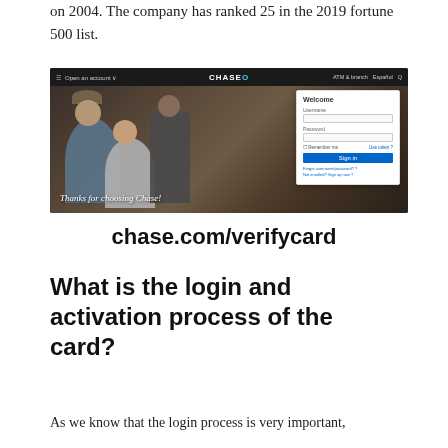on 2004. The company has ranked 25 in the 2019 fortune 500 list.
[Figure (screenshot): Chase bank website screenshot showing the homepage with a cafe scene, 'Thanks for choosing Chase!' tagline, and a login box with Username, Password fields, Remember me checkbox, Sign in button, and links for forgot credentials.]
chase.com/verifycard
What is the login and activation process of the card?
As we know that the login process is very important,